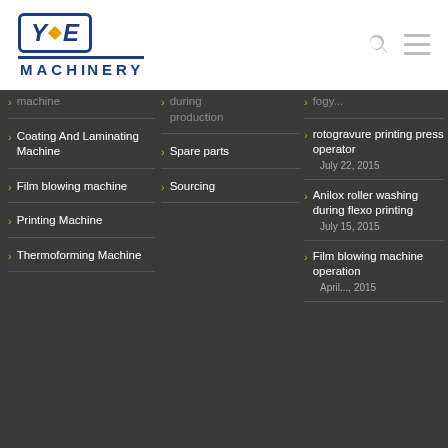[Figure (logo): YE Machinery logo with blue border, stylized Y diamond E letters, and MACHINERY text below]
machine (truncated at top)
Coating And Laminating Machine
Film blowing machine
Printing Machine
Thermoforming Machine
during production (truncated at top)
Spare parts
Sourcing
fogy... (truncated at top), rotogravure printing press operator, July 22, 2015
Anilox roller washing during flexo printing, July 15, 2015
Film blowing machine operation, April..., 2015